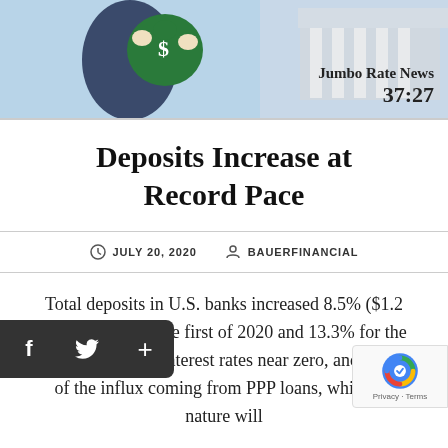[Figure (illustration): Hero image showing a person in a dark suit holding a large green dollar/money bag, with a bank building with columns in the background. Overlay text shows 'Jumbo Rate News 37:27'.]
Deposits Increase at Record Pace
JULY 20, 2020   BAUERFINANCIAL
Total deposits in U.S. banks increased 8.5% ($1.2 Trillion) during the first of 2020 and 13.3% for the 12 period. With interest rates near zero, and much of the influx coming from PPP loans, which by nature will